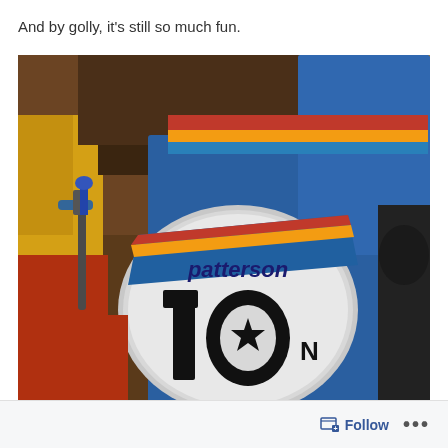And by golly, it's still so much fun.
[Figure (photo): Close-up photograph of a BMX bicycle number plate reading 'patterson 10' with a star symbol, mounted on a blue bike. The rider is wearing blue pants and a colorful jersey with red, yellow, and blue stripes. Other riders and spectators are visible in the background.]
Follow ...